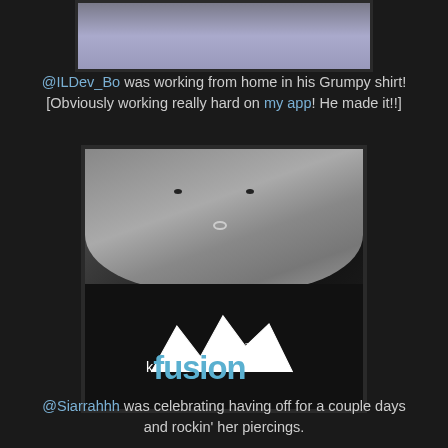[Figure (photo): Partial photo at top showing clothing/fabric, cropped — appears to be a person's torso in light-colored top against a blurred background.]
@ILDev_Bo was working from home in his Grumpy shirt! [Obviously working really hard on my app! He made it!!]
[Figure (photo): Selfie of a young woman with a nose ring/septum piercing, short dark hair, wearing a black t-shirt with 'fusion Work Crew 2013 Rockbridge' logo featuring mountain imagery and blue/white lettering.]
@Siarrahhh was celebrating having off for a couple days and rockin' her piercings.